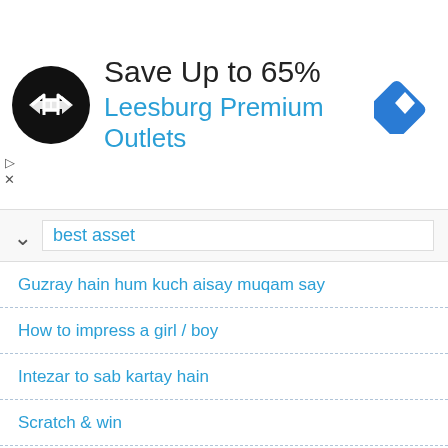[Figure (infographic): Advertisement banner: black circular logo with arrow icons, 'Save Up to 65%' in dark text, 'Leesburg Premium Outlets' in blue, blue diamond navigation icon on the right]
best asset
Guzray hain hum kuch aisay muqam say
How to impress a girl / boy
Intezar to sab kartay hain
Scratch & win
Meray paon main zanjeer nazar ayai
Understanding a girl is like
Jitna pyar paya hai tumse